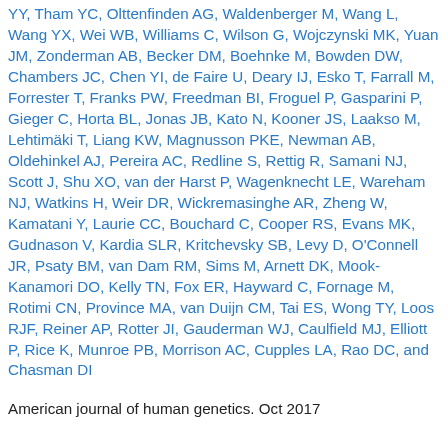YY, Tham YC, Olttenfinden AG, Waldenberger M, Wang L, Wang YX, Wei WB, Williams C, Wilson G, Wojczynski MK, Yuan JM, Zonderman AB, Becker DM, Boehnke M, Bowden DW, Chambers JC, Chen YI, de Faire U, Deary IJ, Esko T, Farrall M, Forrester T, Franks PW, Freedman BI, Froguel P, Gasparini P, Gieger C, Horta BL, Jonas JB, Kato N, Kooner JS, Laakso M, Lehtimäki T, Liang KW, Magnusson PKE, Newman AB, Oldehinkel AJ, Pereira AC, Redline S, Rettig R, Samani NJ, Scott J, Shu XO, van der Harst P, Wagenknecht LE, Wareham NJ, Watkins H, Weir DR, Wickremasinghe AR, Zheng W, Kamatani Y, Laurie CC, Bouchard C, Cooper RS, Evans MK, Gudnason V, Kardia SLR, Kritchevsky SB, Levy D, O'Connell JR, Psaty BM, van Dam RM, Sims M, Arnett DK, Mook-Kanamori DO, Kelly TN, Fox ER, Hayward C, Fornage M, Rotimi CN, Province MA, van Duijn CM, Tai ES, Wong TY, Loos RJF, Reiner AP, Rotter JI, Gauderman WJ, Caulfield MJ, Elliott P, Rice K, Munroe PB, Morrison AC, Cupples LA, Rao DC, and Chasman DI
American journal of human genetics. Oct 2017